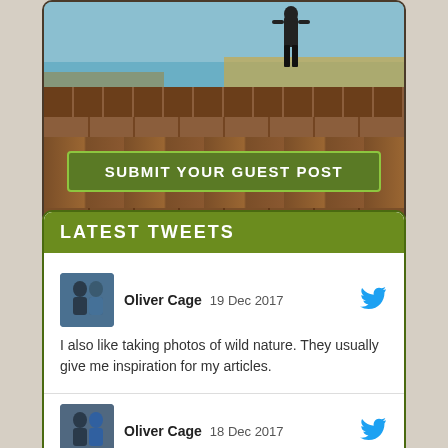[Figure (photo): Top banner with a nature photo showing a person standing in tall grass near water, on a wooden panel background, with a green 'SUBMIT YOUR GUEST POST' button]
LATEST TWEETS
Oliver Cage   19 Dec 2017
I also like taking photos of wild nature. They usually give me inspiration for my articles.
Oliver Cage   18 Dec 2017
People call me a professional blogger, but